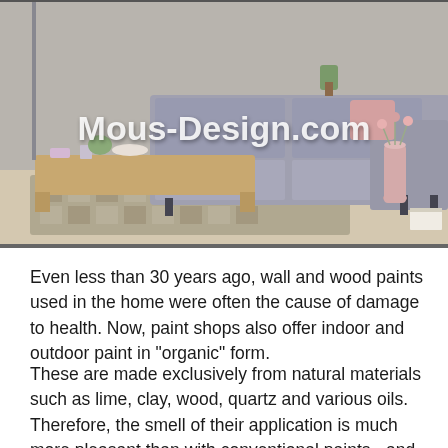[Figure (photo): Interior living room photo showing a grey sectional sofa, a low wooden coffee table, decorative items, and a patterned rug. A watermark 'Mous-Design.com' is overlaid in white bold text.]
Even less than 30 years ago, wall and wood paints used in the home were often the cause of damage to health. Now, paint shops also offer indoor and outdoor paint in "organic" form.
These are made exclusively from natural materials such as lime, clay, wood, quartz and various oils. Therefore, the smell of their application is much more pleasant than with conventional paints - and the released gases are not harmful to health.